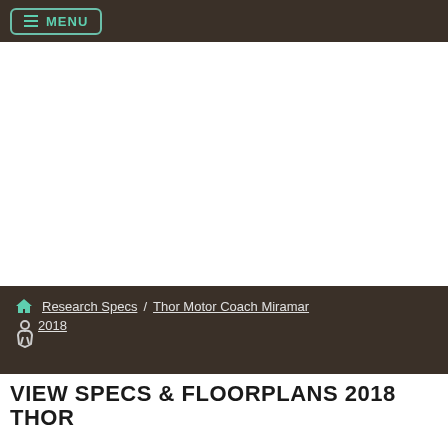MENU
Research Specs / Thor Motor Coach Miramar 2018
VIEW SPECS & FLOORPLANS 2018 THOR